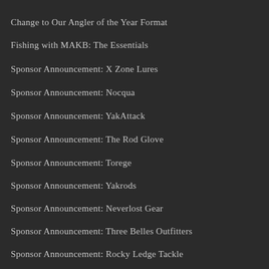Change to Our Angler of the Year Format
Fishing with MAKB: The Essentials
Sponsor Announcement: X Zone Lures
Sponsor Announcement: Nocqua
Sponsor Announcement: YakAttack
Sponsor Announcement: The Rod Glove
Sponsor Announcement: Torege
Sponsor Announcement: Yakrods
Sponsor Announcement: Neverlost Gear
Sponsor Announcement: Three Belles Outfitters
Sponsor Announcement: Rocky Ledge Tackle
Sponsor Announcement: Old Glory Outdoors